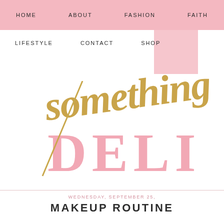HOME   ABOUT   FASHION   FAITH
LIFESTYLE   CONTACT   SHOP
[Figure (logo): Blog logo with gold cursive 'something' script overlapping pink serif 'DELI' text, with a diagonal gold line accent. The logo is for a lifestyle blog called 'Something Delightful' or similar.]
WEDNESDAY, SEPTEMBER 25,
MAKEUP ROUTINE